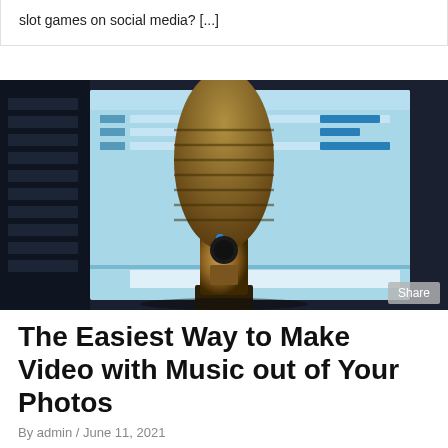slot games on social media? [...]
[Figure (photo): A vintage-style chrome condenser microphone in the foreground with a blurred computer screen showing a blue digital audio workstation interface in the background.]
The Easiest Way to Make Video with Music out of Your Photos
By admin / June 11, 2021
Photo slideshows with music are the ideal way to